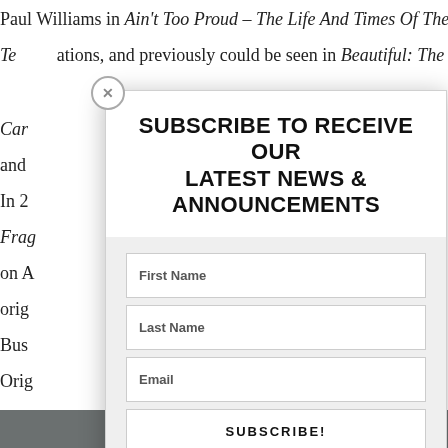Paul Williams in Ain't Too Proud – The Life And Times Of The Te...tations, and previously could be seen in Beautiful: The Car...hicago and...al tour. In 2...Frag...k. And on A...of his orig...way Bus...Orig...ntly bou...luding the...his mo...anx
[Figure (screenshot): Modal popup overlay with close button (x), title 'SUBSCRIBE TO RECEIVE OUR LATEST NEWS & ANNOUNCEMENTS', form fields for First Name, Last Name, Email, and a SUBSCRIBE! button on a light grey background.]
SUBSCRIBE TO RECEIVE OUR LATEST NEWS & ANNOUNCEMENTS
First Name
Last Name
Email
SUBSCRIBE!
Share This ∨